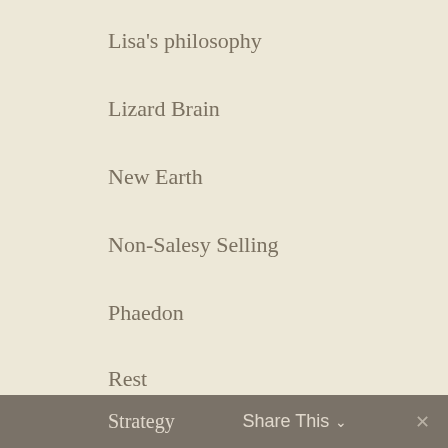Lisa's philosophy
Lizard Brain
New Earth
Non-Salesy Selling
Phaedon
Rest
Sacred Masculine
Spiritual Entrepreneur
Spiritual Growth
Strategy    Share This ˅    ✕